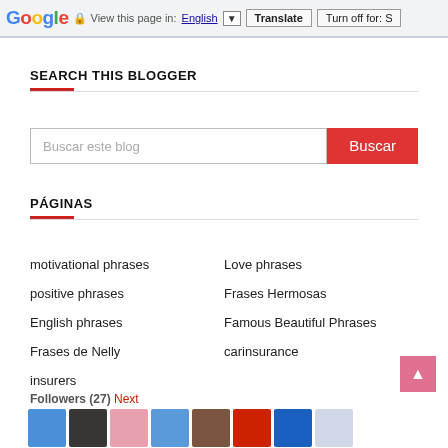Google  View this page in: English [▼]  Translate  Turn off for: S
SEARCH THIS BLOGGER
Buscar este blog
PÁGINAS
motivational phrases
Love phrases
positive phrases
Frases Hermosas
English phrases
Famous Beautiful Phrases
Frases de Nelly
carinsurance
insurers
Followers (27) Next
[Figure (photo): Row of follower avatar thumbnails at bottom of page]